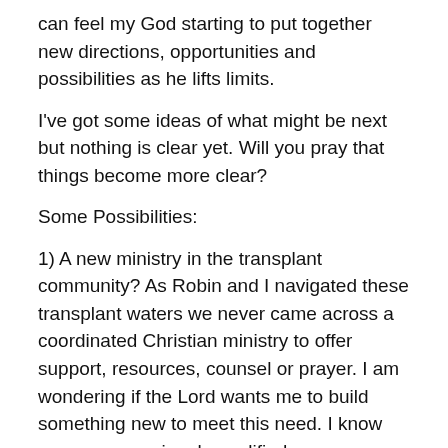can feel my God starting to put together new directions, opportunities and possibilities as he lifts limits.
I've got some ideas of what might be next but nothing is clear yet. Will you pray that things become more clear?
Some Possibilities:
1) A new ministry in the transplant community? As Robin and I navigated these transplant waters we never came across a coordinated Christian ministry to offer support, resources, counsel or prayer. I am wondering if the Lord wants me to build something new to meet this need. I know we are now uniquely qualified.
2) Church planting? The vision I had before transplant is still intact and our hearts still are heavy to connect with people not attracted by the average church formula.